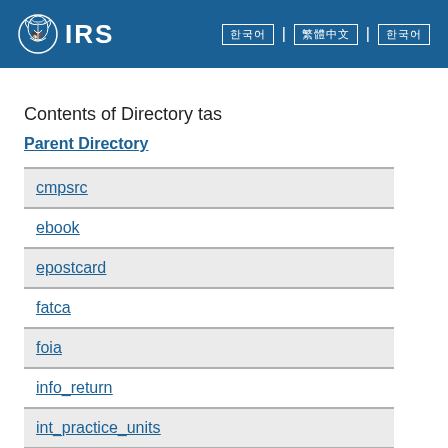IRS [logo] | navigation links
Contents of Directory tas
Parent Directory
cmpsrc
ebook
epostcard
fatca
foia
info_return
int_practice_units